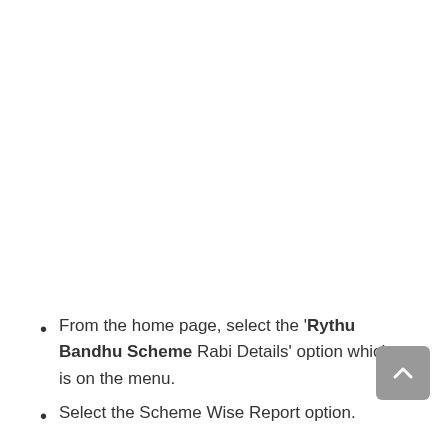From the home page, select the 'Rythu Bandhu Scheme Rabi Details' option which is on the menu.
Select the Scheme Wise Report option.